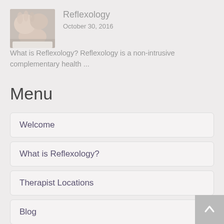[Figure (photo): Photograph of hands performing reflexology on a foot]
Reflexology
October 30, 2016
What is Reflexology? Reflexology is a non-intrusive complementary health ...
Menu
Welcome
What is Reflexology?
Therapist Locations
Blog
Contact